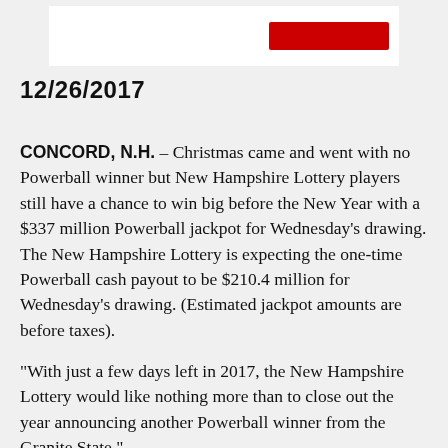[Figure (illustration): Partial view of a lottery logo or banner with a red graphic element on white background]
12/26/2017
CONCORD, N.H. – Christmas came and went with no Powerball winner but New Hampshire Lottery players still have a chance to win big before the New Year with a $337 million Powerball jackpot for Wednesday's drawing. The New Hampshire Lottery is expecting the one-time Powerball cash payout to be $210.4 million for Wednesday's drawing. (Estimated jackpot amounts are before taxes).
“With just a few days left in 2017, the New Hampshire Lottery would like nothing more than to close out the year announcing another Powerball winner from the Granite State.”